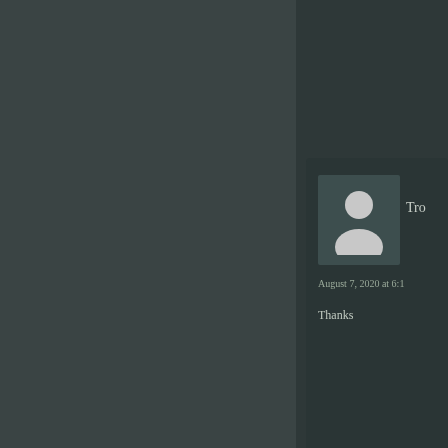[Figure (photo): User avatar placeholder - grey silhouette of a person on a slightly lighter grey background]
Tro
August 7, 2020 at 6:1
Thanks
Leave a Reply
Your email address will not be pu
Comment *